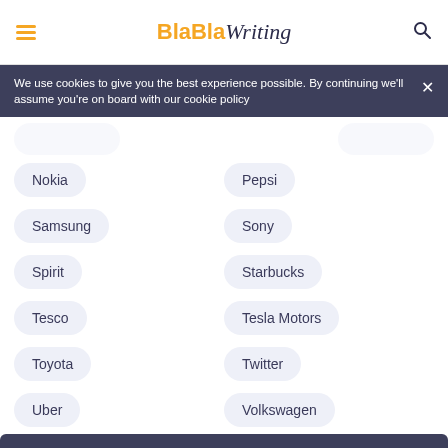BlaBlaWriting
We use cookies to give you the best experience possible. By continuing we'll assume you're on board with our cookie policy
Nokia
Pepsi
Samsung
Sony
Spirit
Starbucks
Tesco
Tesla Motors
Toyota
Twitter
Uber
Volkswagen
Walmart
Zara